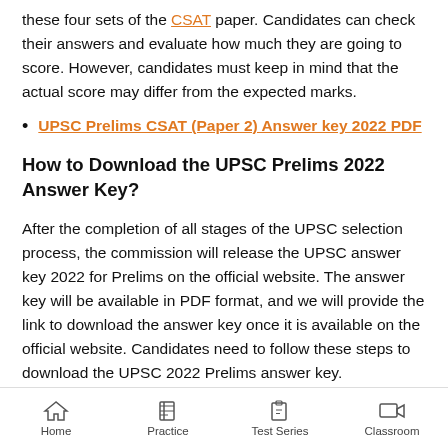these four sets of the CSAT paper. Candidates can check their answers and evaluate how much they are going to score. However, candidates must keep in mind that the actual score may differ from the expected marks.
UPSC Prelims CSAT (Paper 2) Answer key 2022 PDF
How to Download the UPSC Prelims 2022 Answer Key?
After the completion of all stages of the UPSC selection process, the commission will release the UPSC answer key 2022 for Prelims on the official website. The answer key will be available in PDF format, and we will provide the link to download the answer key once it is available on the official website. Candidates need to follow these steps to download the UPSC 2022 Prelims answer key.
Home   Practice   Test Series   Classroom